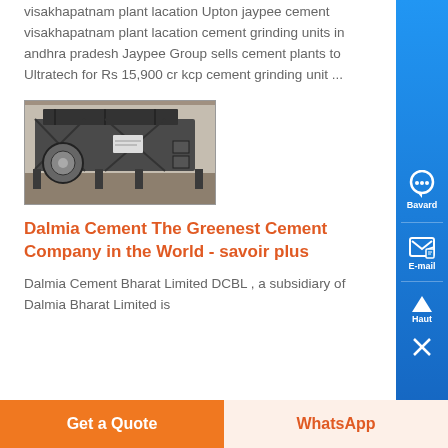visakhapatnam plant lacation Upton jaypee cement visakhapatnam plant lacation cement grinding units in andhra pradesh Jaypee Group sells cement plants to Ultratech for Rs 15,900 cr kcp cement grinding unit ...
[Figure (photo): Industrial cement grinding machine or vibrating screen equipment in a factory setting]
Dalmia Cement The Greenest Cement Company in the World - savoir plus
Dalmia Cement Bharat Limited DCBL , a subsidiary of Dalmia Bharat Limited is